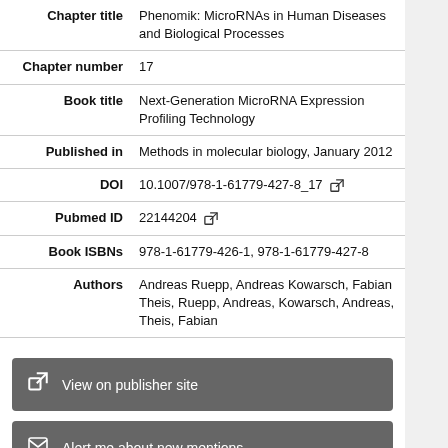| Field | Value |
| --- | --- |
| Chapter title | Phenomik: MicroRNAs in Human Diseases and Biological Processes |
| Chapter number | 17 |
| Book title | Next-Generation MicroRNA Expression Profiling Technology |
| Published in | Methods in molecular biology, January 2012 |
| DOI | 10.1007/978-1-61779-427-8_17 |
| Pubmed ID | 22144204 |
| Book ISBNs | 978-1-61779-426-1, 978-1-61779-427-8 |
| Authors | Andreas Ruepp, Andreas Kowarsch, Fabian Theis, Ruepp, Andreas, Kowarsch, Andreas, Theis, Fabian |
View on publisher site
Alert me about new mentions